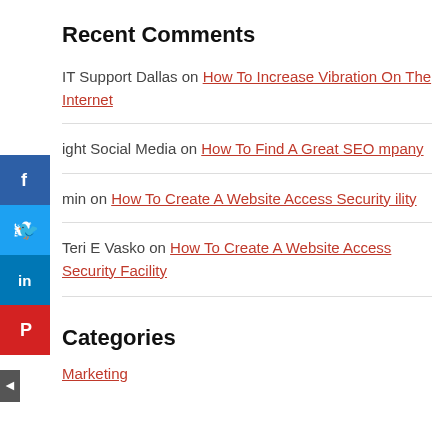Recent Comments
IT Support Dallas on How To Increase Vibration On The Internet
ight Social Media on How To Find A Great SEO mpany
min on How To Create A Website Access Security ility
Teri E Vasko on How To Create A Website Access Security Facility
Categories
Marketing